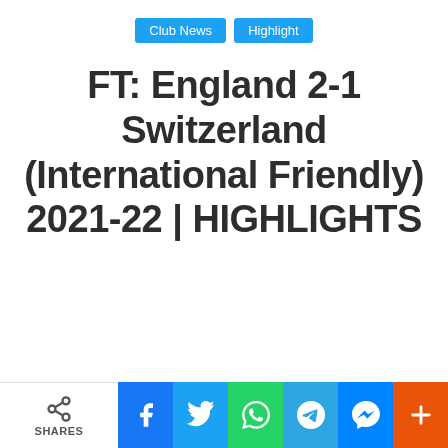Club News | Highlight
FT: England 2-1 Switzerland (International Friendly) 2021-22 | HIGHLIGHTS
SHARES | Facebook | Twitter | WhatsApp | Telegram | Messenger | +